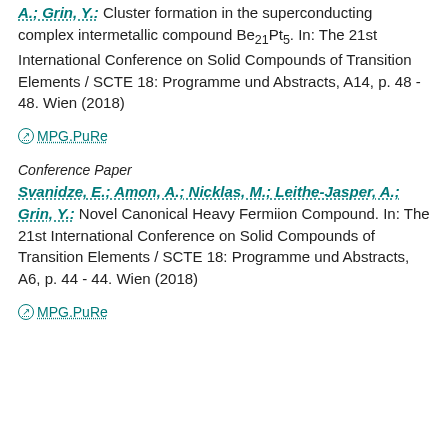…; Leithe-Jasper, A.; Grin, Y.: Cluster formation in the superconducting complex intermetallic compound Be21Pt5. In: The 21st International Conference on Solid Compounds of Transition Elements / SCTE 18: Programme und Abstracts, A14, p. 48 - 48. Wien (2018)
⊙ MPG.PuRe
Conference Paper
Svanidze, E.; Amon, A.; Nicklas, M.; Leithe-Jasper, A.; Grin, Y.: Novel Canonical Heavy Fermiion Compound. In: The 21st International Conference on Solid Compounds of Transition Elements / SCTE 18: Programme und Abstracts, A6, p. 44 - 44. Wien (2018)
⊙ MPG.PuRe